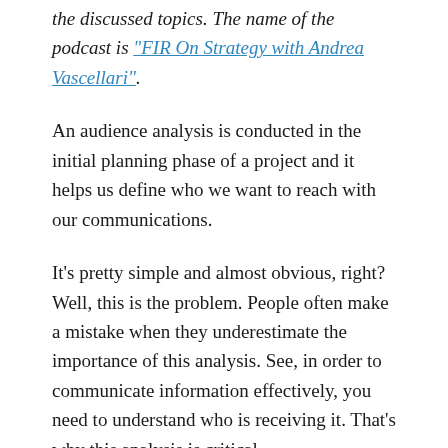the discussed topics. The name of the podcast is "FIR On Strategy with Andrea Vascellari".
An audience analysis is conducted in the initial planning phase of a project and it helps us define who we want to reach with our communications.
It's pretty simple and almost obvious, right? Well, this is the problem. People often make a mistake when they underestimate the importance of this analysis. See, in order to communicate information effectively, you need to understand who is receiving it. That's why this analysis is critical.
In this post, we will explore how to...